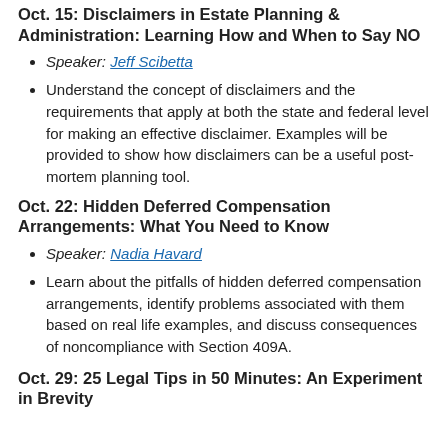Oct. 15: Disclaimers in Estate Planning & Administration: Learning How and When to Say NO
Speaker: Jeff Scibetta
Understand the concept of disclaimers and the requirements that apply at both the state and federal level for making an effective disclaimer. Examples will be provided to show how disclaimers can be a useful post-mortem planning tool.
Oct. 22: Hidden Deferred Compensation Arrangements: What You Need to Know
Speaker: Nadia Havard
Learn about the pitfalls of hidden deferred compensation arrangements, identify problems associated with them based on real life examples, and discuss consequences of noncompliance with Section 409A.
Oct. 29: 25 Legal Tips in 50 Minutes: An Experiment in Brevity